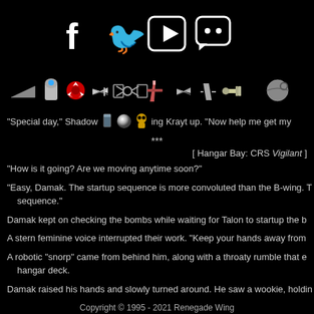[Figure (illustration): Social media icons: Facebook, Twitter, YouTube, Discord in white on black background]
[Figure (illustration): Row of Star Wars themed emoji icons: Star Destroyer, R2-D2, Rebel Alliance symbol, X-wing, TIE fighter, B-wing, X-wing, shuttle, Y-wing, Death Star, plus a glass emoji, a chrome sphere, and C-3PO emoji overlaid on text]
"Special day," Shadow [icons] ed, ing Krayt up. "Now help me get my
***
[ Hangar Bay: CRS Vigilant ]
"How is it going? Are we moving anytime soon?"
"Easy, Damak. The startup sequence is more convoluted than the B-wing. T sequence."
Damak kept on checking the bombs while waiting for Talon to startup the b
A stern feminine voice interrupted their work. "Keep your hands away from
A robotic "snorp" came from behind him, along with a throaty rumble that e hangar deck.
Damak raised his hands and slowly turned around. He saw a wookie, holdin
Copyright © 1995 - 2021 Renegade Wing